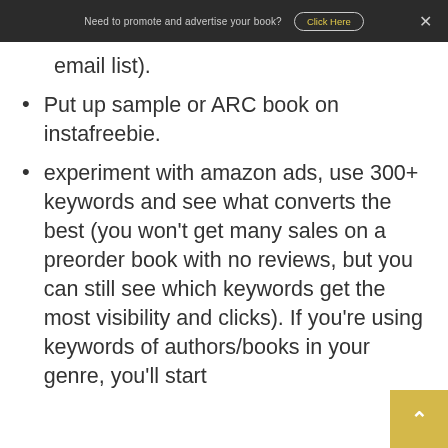Need to promote and advertise your book? Click Here
email list).
Put up sample or ARC book on instafreebie.
experiment with amazon ads, use 300+ keywords and see what converts the best (you won't get many sales on a preorder book with no reviews, but you can still see which keywords get the most visibility and clicks). If you're using keywords of authors/books in your genre, you'll start